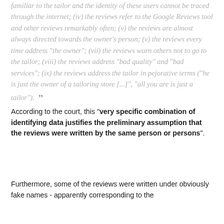familiar to the tailor and the identity of these users cannot be traced through the internet; (iv) the reviews refer to the Google Reviews tool and other reviews remarkably often; (v) the reviews are almost always directed towards the owner's person; (v) the reviews every time address "the owner"; (vii) the reviews warn others not to go to the tailor; (viii) the reviews address "bad quality" and "bad services"; (ix) the reviews address the tailor in pejorative terms ("he is just the owner of a tailoring store [...]", "all you are is just a tailor").
According to the court, this "very specific combination of identifying data justifies the preliminary assumption that the reviews were written by the same person or persons".
Furthermore, some of the reviews were written under obviously fake names - apparently corresponding to the